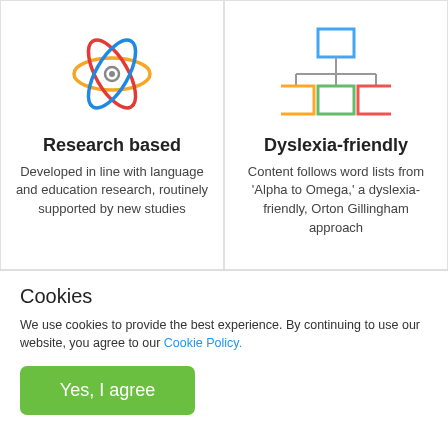[Figure (illustration): Atom icon with red, blue, and yellow elliptical orbits and a grey center circle]
Research based
Developed in line with language and education research, routinely supported by new studies
[Figure (organizational-chart): Org chart with a blue box on top connected to three boxes below: orange, green, and red]
Dyslexia-friendly
Content follows word lists from 'Alpha to Omega,' a dyslexia-friendly, Orton Gillingham approach
Cookies
We use cookies to provide the best experience. By continuing to use our website, you agree to our Cookie Policy.
Yes, I agree